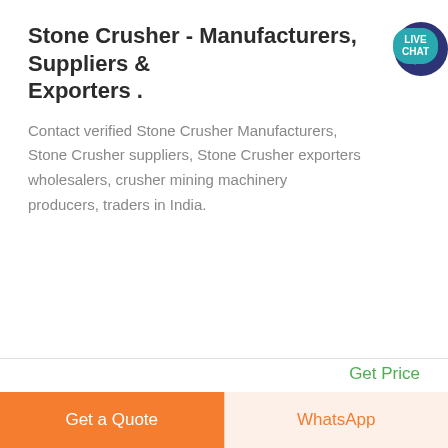Stone Crusher - Manufacturers, Suppliers & Exporters .
Contact verified Stone Crusher Manufacturers, Stone Crusher suppliers, Stone Crusher exporters wholesalers, crusher mining machinery producers, traders in India.
Get Price
[Figure (photo): Photo of stone crushing machinery equipment on left side]
[Figure (photo): Photo of stone crusher machine component on right side]
Get a Quote
WhatsApp